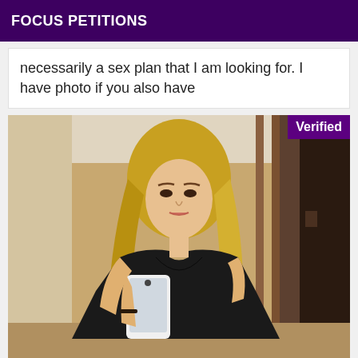FOCUS PETITIONS
necessarily a sex plan that I am looking for. I have photo if you also have
[Figure (photo): Mirror selfie photo of a woman with long blonde hair wearing a black top, holding a white smartphone. A 'Verified' badge appears in the upper right corner of the image.]